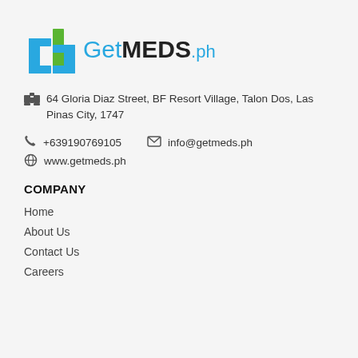[Figure (logo): GetMEDS.ph logo with stylized H icon in blue and green, followed by text 'GetMEDS.ph']
64 Gloria Diaz Street, BF Resort Village, Talon Dos, Las Pinas City, 1747
+639190769105   info@getmeds.ph   www.getmeds.ph
COMPANY
Home
About Us
Contact Us
Careers